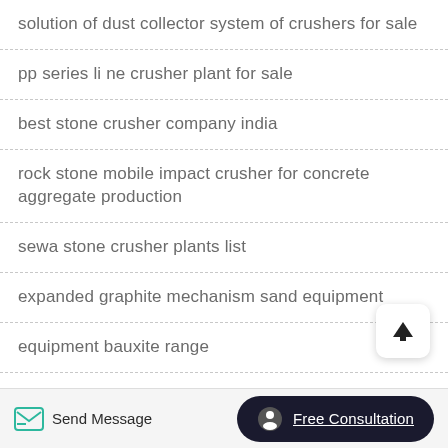solution of dust collector system of crushers for sale
pp series li ne crusher plant for sale
best stone crusher company india
rock stone mobile impact crusher for concrete aggregate production
sewa stone crusher plants list
expanded graphite mechanism sand equipment
equipment bauxite range
primary jaw crusher in ethiopia    roll crusher tunggal
feeder mining activator
Send Message   Free Consultation